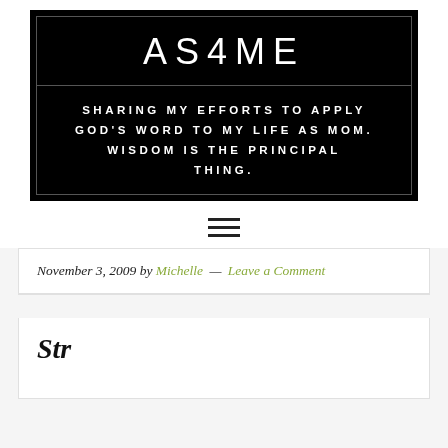AS4ME — SHARING MY EFFORTS TO APPLY GOD'S WORD TO MY LIFE AS MOM. WISDOM IS THE PRINCIPAL THING.
[Figure (other): Hamburger menu icon with three horizontal lines]
November 3, 2009 by Michelle — Leave a Comment
Str...